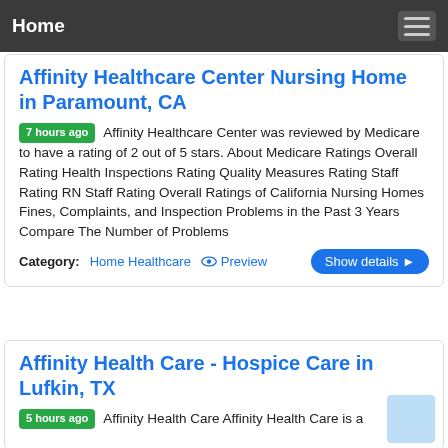Home
Affinity Healthcare Center Nursing Home in Paramount, CA
7 hours ago Affinity Healthcare Center was reviewed by Medicare to have a rating of 2 out of 5 stars. About Medicare Ratings Overall Rating Health Inspections Rating Quality Measures Rating Staff Rating RN Staff Rating Overall Ratings of California Nursing Homes Fines, Complaints, and Inspection Problems in the Past 3 Years Compare The Number of Problems
Category: Home Healthcare   Preview   Show details
Affinity Health Care - Hospice Care in Lufkin, TX
5 hours ago Affinity Health Care Affinity Health Care is a